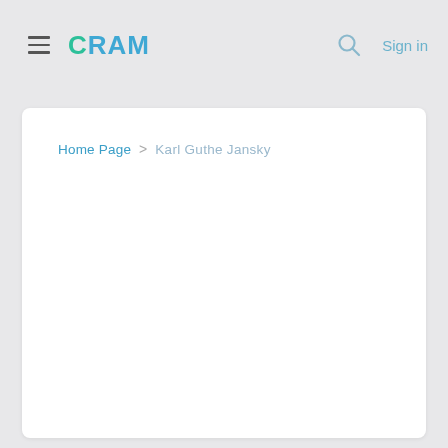CRAM  Sign in
Home Page > Karl Guthe Jansky